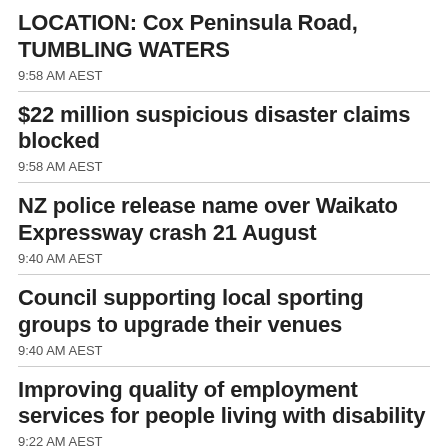LOCATION: Cox Peninsula Road, TUMBLING WATERS
9:58 AM AEST
$22 million suspicious disaster claims blocked
9:58 AM AEST
NZ police release name over Waikato Expressway crash 21 August
9:40 AM AEST
Council supporting local sporting groups to upgrade their venues
9:40 AM AEST
Improving quality of employment services for people living with disability
9:22 AM AEST
Annual day of recognition to honour war widows